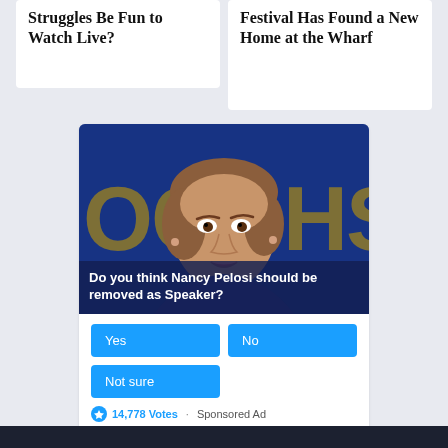Struggles Be Fun to Watch Live?
Festival Has Found a New Home at the Wharf
[Figure (photo): Photo of Nancy Pelosi speaking at a podium with blue and yellow background showing partial text 'DC' and 'HS'. Overlay text reads: 'Do you think Nancy Pelosi should be removed as Speaker?']
Yes
No
Not sure
14,778 Votes · Sponsored Ad